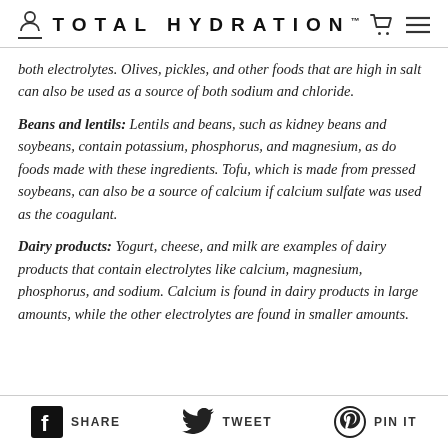TOTAL HYDRATION
both electrolytes. Olives, pickles, and other foods that are high in salt can also be used as a source of both sodium and chloride.
Beans and lentils: Lentils and beans, such as kidney beans and soybeans, contain potassium, phosphorus, and magnesium, as do foods made with these ingredients. Tofu, which is made from pressed soybeans, can also be a source of calcium if calcium sulfate was used as the coagulant.
Dairy products: Yogurt, cheese, and milk are examples of dairy products that contain electrolytes like calcium, magnesium, phosphorus, and sodium. Calcium is found in dairy products in large amounts, while the other electrolytes are found in smaller amounts.
SHARE   TWEET   PIN IT